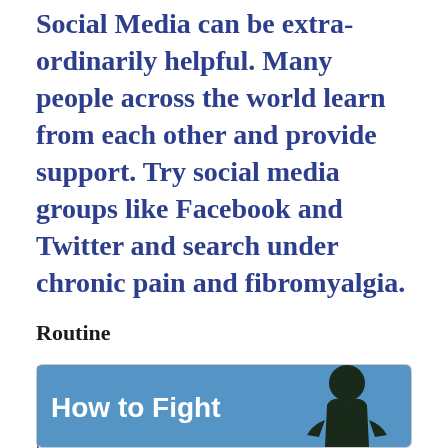Social Media can be extra-ordinarily helpful. Many people across the world learn from each other and provide support. Try social media groups like Facebook and Twitter and search under chronic pain and fibromyalgia.
Routine
if you have fibromyalgia tFibrhen routine is your friend. Get up the same time every morning and go to bed same time every night. You may notice that any change in routine causes increased symptoms – even a happy holiday can mess with fibromyalgia. Keep to same healthy diet, exercise should be moderate – don't overdue it. No marathons or breakdancing.
[Figure (photo): Image with blue background showing text 'How to Fight' and a dark silhouette of a person]